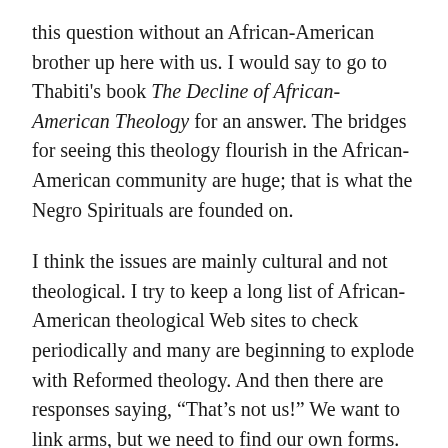this question without an African-American brother up here with us. I would say to go to Thabiti's book The Decline of African-American Theology for an answer. The bridges for seeing this theology flourish in the African-American community are huge; that is what the Negro Spirituals are founded on.
I think the issues are mainly cultural and not theological. I try to keep a long list of African-American theological Web sites to check periodically and many are beginning to explode with Reformed theology. And then there are responses saying, “That’s not us!” We want to link arms, but we need to find our own forms.